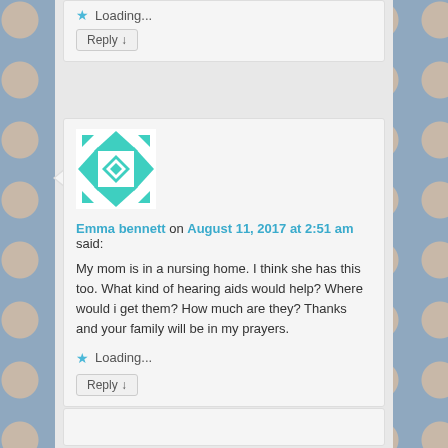Loading...
Reply ↓
Emma bennett on August 11, 2017 at 2:51 am said:
My mom is in a nursing home. I think she has this too. What kind of hearing aids would help? Where would i get them? How much are they? Thanks and your family will be in my prayers.
Loading...
Reply ↓